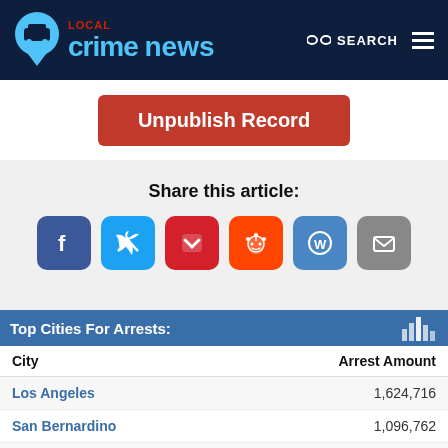[Figure (screenshot): Local Crime News website header with logo (blue pin with car icon, 'LOCAL crime news' text), binoculars search icon, SEARCH text, and hamburger menu on dark navy background]
Unpublish Record
Share this article:
[Figure (infographic): Social media share icons: Facebook (blue), Twitter (light blue), Pocket (red), Reddit (orange), WordPress (blue), Email (gray)]
Top Cities For Arrests:
| City | Arrest Amount |
| --- | --- |
| Los Angeles | 1,624,716 |
| San Bernardino | 1,096,762 |
| Monterey Park | 806,628 |
| San Diego | 656,053 |